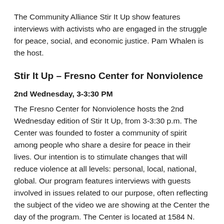The Community Alliance Stir It Up show features interviews with activists who are engaged in the struggle for peace, social, and economic justice. Pam Whalen is the host.
Stir It Up – Fresno Center for Nonviolence
2nd Wednesday, 3-3:30 PM
The Fresno Center for Nonviolence hosts the 2nd Wednesday edition of Stir It Up, from 3-3:30 p.m. The Center was founded to foster a community of spirit among people who share a desire for peace in their lives. Our intention is to stimulate changes that will reduce violence at all levels: personal, local, national, global. Our program features interviews with guests involved in issues related to our purpose, often reflecting the subject of the video we are showing at the Center the day of the program. The Center is located at 1584 N. Van Ness Ave., Fresno (SE corner McKinley and Van Ness) and is open Mon-